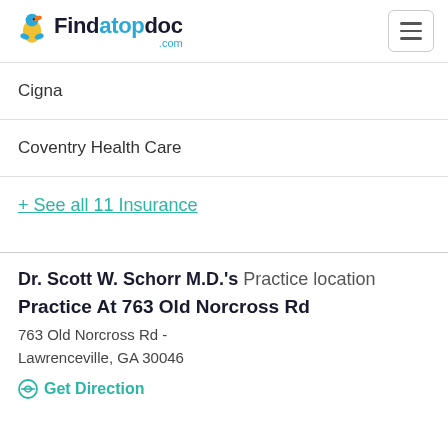Findatopdoc.com
Cigna
Coventry Health Care
+ See all 11 Insurance
Dr. Scott W. Schorr M.D.'s Practice location
Practice At 763 Old Norcross Rd
763 Old Norcross Rd - Lawrenceville, GA 30046
Get Direction